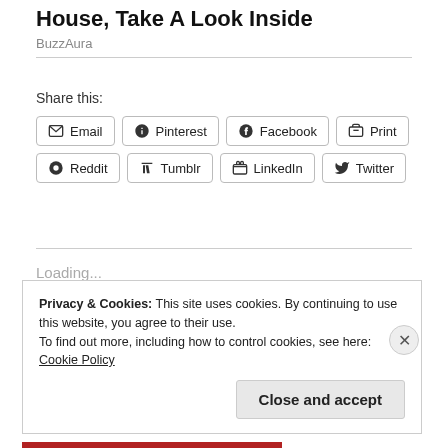House, Take A Look Inside
BuzzAura
Share this:
Email | Pinterest | Facebook | Print | Reddit | Tumblr | LinkedIn | Twitter
Loading...
Privacy & Cookies: This site uses cookies. By continuing to use this website, you agree to their use.
To find out more, including how to control cookies, see here:
Cookie Policy
Close and accept